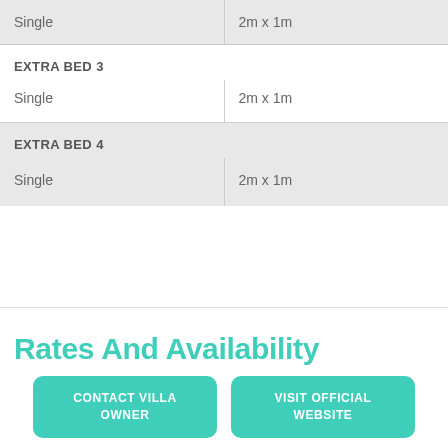| Type | Size |
| --- | --- |
| Single | 2m x 1m |
| EXTRA BED 3 |  |
| Single | 2m x 1m |
| EXTRA BED 4 |  |
| Single | 2m x 1m |
Rates And Availability
CONTACT VILLA OWNER
VISIT OFFICIAL WEBSITE